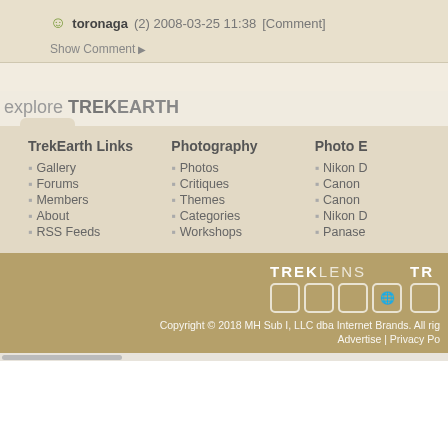toronaga (2) 2008-03-25 11:38 [Comment]
Show Comment ▶
explore TREKEARTH
TrekEarth Links
Gallery
Forums
Members
About
RSS Feeds
Photography
Photos
Critiques
Themes
Categories
Workshops
Photo E[quipment]
Nikon D[...]
Canon [...]
Canon [...]
Nikon D[...]
Panase[...]
[Figure (logo): TrekLens logo with icon boxes]
Copyright © 2018 MH Sub I, LLC dba Internet Brands. All rights reserved.
Advertise | Privacy Po[licy]